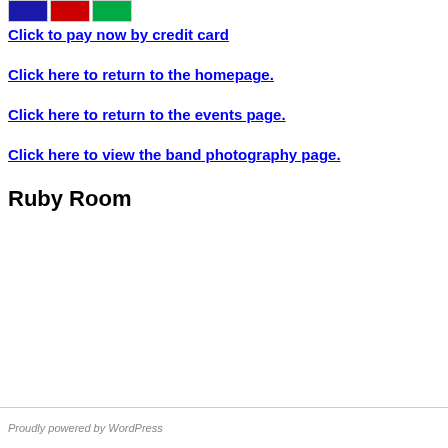[Figure (other): Credit card logos: Visa, Mastercard, and another card]
Click to pay now by credit card
Click here to return to the homepage.
Click here to return to the events page.
Click here to view the band photography page.
Ruby Room
Proudly powered by WordPress